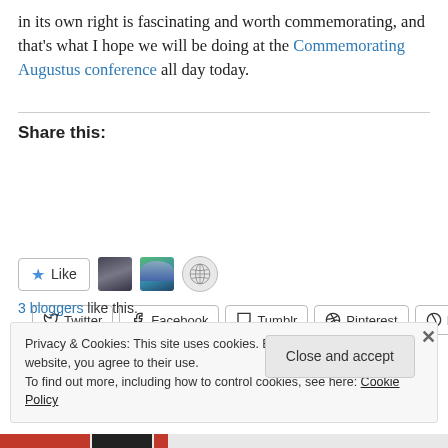in its own right is fascinating and worth commemorating, and that's what I hope we will be doing at the Commemorating Augustus conference all day today.
Share this:
[Figure (other): Social share buttons: Twitter, Facebook, Tumblr, Pinterest, Reddit, LinkedIn, Pocket, Email, Print]
[Figure (other): Like button with star icon and three blogger avatars]
3 bloggers like this.
Privacy & Cookies: This site uses cookies. By continuing to use this website, you agree to their use. To find out more, including how to control cookies, see here: Cookie Policy
Close and accept